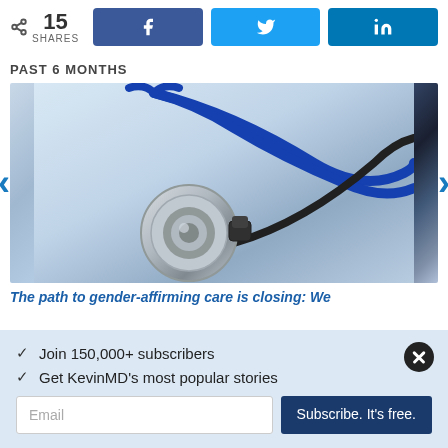15 SHARES
PAST 6 MONTHS
[Figure (photo): Close-up photo of a medical stethoscope with blue tubing on a white background]
The path to gender-affirming care is closing: We
✓ Join 150,000+ subscribers
✓ Get KevinMD's most popular stories
Email | Subscribe. It's free.